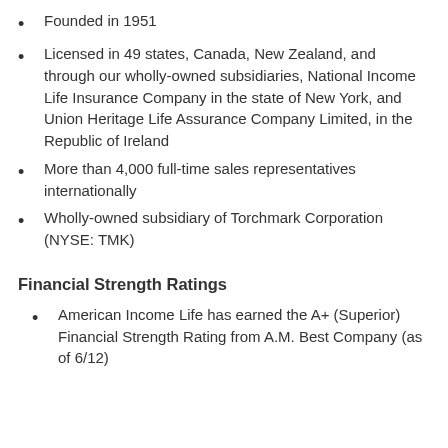Founded in 1951
Licensed in 49 states, Canada, New Zealand, and through our wholly-owned subsidiaries, National Income Life Insurance Company in the state of New York, and Union Heritage Life Assurance Company Limited, in the Republic of Ireland
More than 4,000 full-time sales representatives internationally
Wholly-owned subsidiary of Torchmark Corporation (NYSE: TMK)
Financial Strength Ratings
American Income Life has earned the A+ (Superior) Financial Strength Rating from A.M. Best Company (as of 6/12)